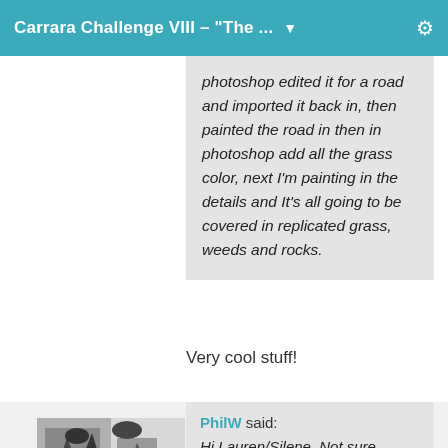Carrara Challenge VIII - "The ..."
photoshop edited it for a road and imported it back in, then painted the road in then in photoshop add all the grass color, next I'm painting in the details and It's all going to be covered in replicated grass, weeds and rocks.
Very cool stuff!
[Figure (photo): Black and white photo or illustration showing a dark scene with figures]
PhilW said: Hi Lauren/Silene, Not sure